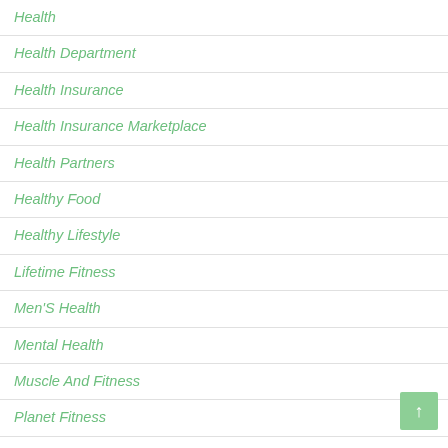Health
Health Department
Health Insurance
Health Insurance Marketplace
Health Partners
Healthy Food
Healthy Lifestyle
Lifetime Fitness
Men'S Health
Mental Health
Muscle And Fitness
Planet Fitness
Women'S Health